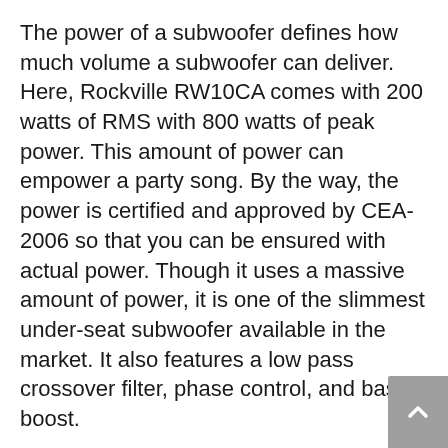The power of a subwoofer defines how much volume a subwoofer can deliver. Here, Rockville RW10CA comes with 200 watts of RMS with 800 watts of peak power. This amount of power can empower a party song. By the way, the power is certified and approved by CEA-2006 so that you can be ensured with actual power. Though it uses a massive amount of power, it is one of the slimmest under-seat subwoofer available in the market. It also features a low pass crossover filter, phase control, and bass boost.
Most of the car owners think of power as well as the size of the subs. Usually, high powered subs look too large to fit under the seat. Here, Rockville is quite exceptional